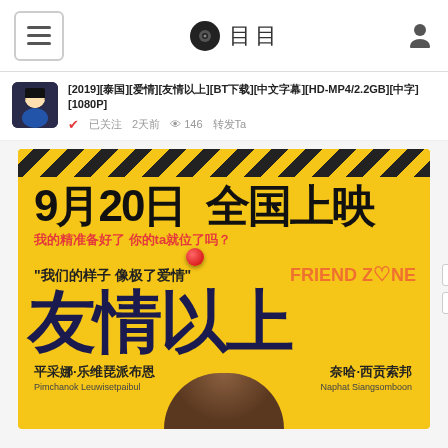≡  □□  ⊙ □□  👤
[2019][泰国][爱情][友情以上][BT下载][中文字幕][HD-MP4/2.2GB][中字][1080P]
已关注 2天前 👁 146 转发Ta
[Figure (photo): Movie promotional poster for 'Friend Zone' (友情以上), a 2019 Thai romantic comedy. Yellow background with hazard stripe pattern at top. Large Chinese text '9月20日 全国上映' (September 20 nationwide release). Red subtitle text '我的精准备好了 你的ta就位了吗？'. Film quote '我们的样子 像极了爱情' and 'FRIEND ZONE' logo in orange. Large dark blue Chinese characters '友情以上'. Actor credits: 平采娜·乐维琵派布恩 / Pimchanok Leuwisetpaibul and 奈哈·西贡索邦 / Naphat Siangsomboon.]